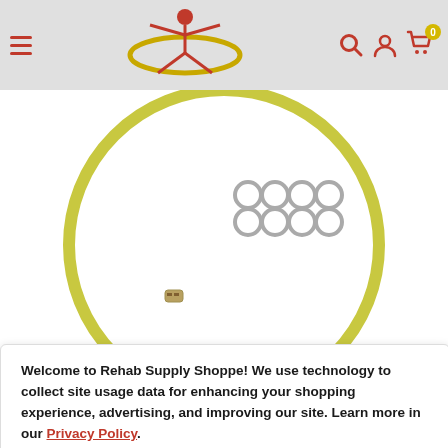Rehab Supply Shoppe navigation header with logo, hamburger menu, search, account, and cart icons
[Figure (photo): Product photo showing a yellow-green circular resistance band/loop with metal rings and connector]
[Figure (photo): Thumbnail 1: Close-up of the circular resistance band loop on white background]
[Figure (photo): Thumbnail 2: Person using the resistance band on neck/shoulder area]
Welcome to Rehab Supply Shoppe! We use technology to collect site usage data for enhancing your shopping experience, advertising, and improving our site. Learn more in our Privacy Policy.
Accept